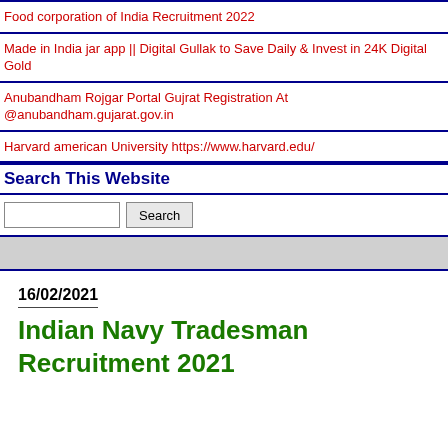Food corporation of India Recruitment 2022
Made in India jar app || Digital Gullak to Save Daily & Invest in 24K Digital Gold
Anubandham Rojgar Portal Gujrat Registration At @anubandham.gujarat.gov.in
Harvard american University https://www.harvard.edu/
Search This Website
Search
Indian Navy Tradesman Recruitment 2021
16/02/2021